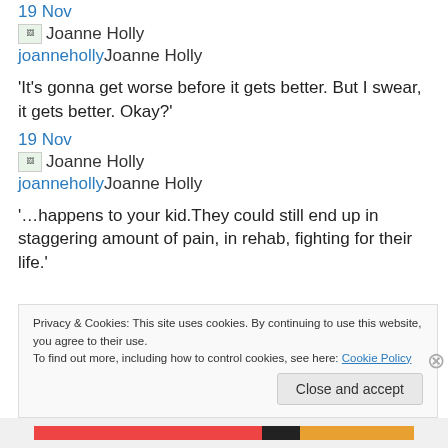19 Nov
[Figure (photo): Small avatar image placeholder for Joanne Holly]
joannehollyJoanne Holly
'It's gonna get worse before it gets better. But I swear, it gets better. Okay?'
19 Nov
[Figure (photo): Small avatar image placeholder for Joanne Holly]
joannehollyJoanne Holly
'…happens to your kid.They could still end up in staggering amount of pain, in rehab, fighting for their life.'
Privacy & Cookies: This site uses cookies. By continuing to use this website, you agree to their use.
To find out more, including how to control cookies, see here: Cookie Policy
Close and accept